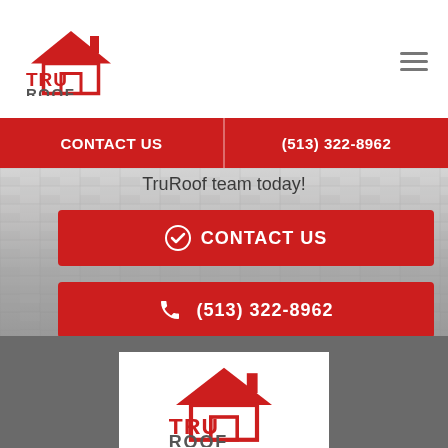[Figure (logo): TruRoof company logo with red house/roof icon and TRU ROOF text]
[Figure (other): Hamburger menu icon (three horizontal lines)]
CONTACT US | (513) 322-8962
TruRoof team today!
✓  CONTACT US
📞  (513) 322-8962
[Figure (logo): TruRoof company logo repeated in footer white box area, with red house/roof icon]